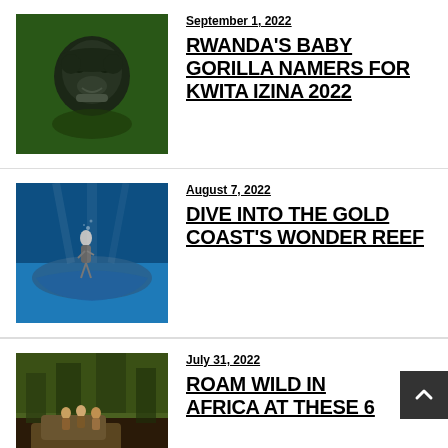[Figure (photo): Close-up of a baby gorilla face among green foliage]
September 1, 2022
RWANDA'S BABY GORILLA NAMERS FOR KWITA IZINA 2022
[Figure (photo): Underwater scene with a diver and large marine animal, blue water]
August 7, 2022
DIVE INTO THE GOLD COAST'S WONDER REEF
[Figure (photo): Safari vehicle scene with people in an African bush setting]
July 31, 2022
ROAM WILD IN AFRICA AT THESE 6